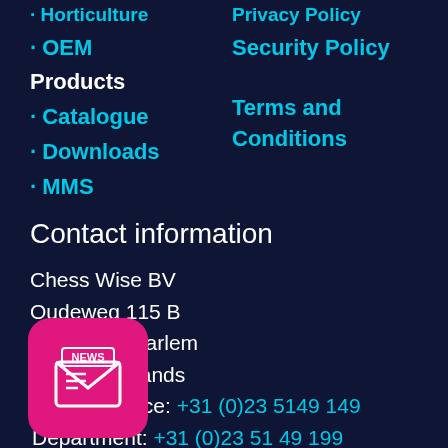· Horticulture
· Privacy Policy
· OEM
Security Policy
Products
Terms and Conditions
· Catalogue
· Downloads
· MMS
Contact information
Chess Wise BV
Oudeweg 115 B
2031 CC Haarlem
The Netherlands
General Office: +31 (0)23 5149 149
Department: +31 (0)23 51 49 199
ess.nl